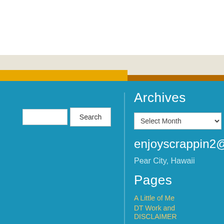[Figure (screenshot): Website footer/sidebar screenshot showing a teal/blue background with search bar, Archives section with month selector, email address enjoyscrappin2@g, location Pear City Hawaii, Pages navigation links, and Social media icons column on the right with Follow by Email section. Top has white, beige and gold/brown decorative stripes.]
Search
Archives
Select Month
enjoyscrappin2@g
Pear City, Hawaii
Pages
A Little of Me
DT Work and
DISCLAIMER
SPONSORSHIP/AFFILIATES
Social
Follow
Follow by Email
Enter yo to follow receive new po